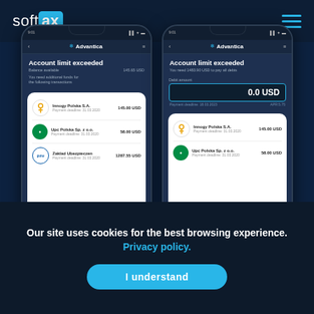[Figure (screenshot): Softax website header with logo on left (soft in white, ax in cyan box) and hamburger menu icon on right in cyan]
[Figure (screenshot): Two smartphone mockups showing the Advantica app with 'Account limit exceeded' screens. Left phone shows balance available 145.65 USD with transaction list: Innogy Polska S.A. 145.00 USD, Upc Polska Sp. z o.o. 58.00 USD, Zaklad Ubezpieczen 1287.55 USD. Right phone shows 'You need 1483.90 USD to pay all debts' with debt amount input 0.0 USD and partial transaction list.]
Our site uses cookies for the best browsing experience. Privacy policy.
I understand